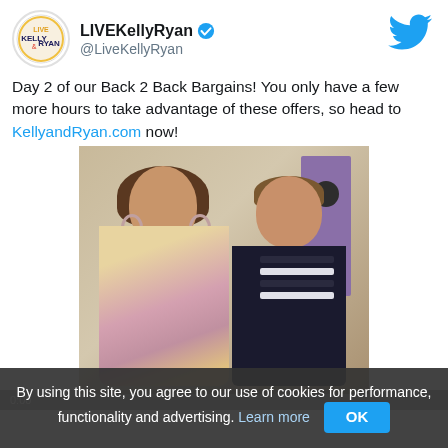LIVEKellyRyan @LiveKellyRyan
Day 2 of our Back 2 Back Bargains! You only have a few more hours to take advantage of these offers, so head to KellyandRyan.com now!
[Figure (photo): Two TV hosts standing side by side on a studio set. Woman on left wearing floral dress with hoop earrings, man on right wearing dark blazer with striped shirt underneath. Purple door visible in background.]
By using this site, you agree to our use of cookies for performance, functionality and advertising. Learn more   OK